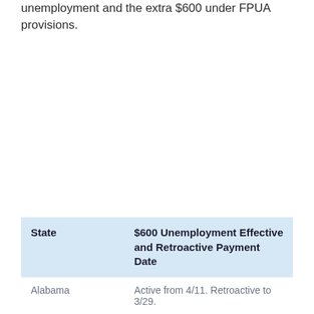unemployment and the extra $600 under FPUA provisions.
| State | $600 Unemployment Effective and Retroactive Payment Date |
| --- | --- |
| Alabama | Active from 4/11. Retroactive to 3/29. |